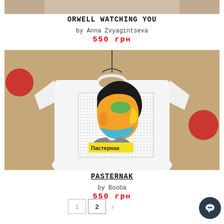[Figure (photo): Partial image of a t-shirt product (top cropped), brown background visible at top]
ORWELL WATCHING YOU
by Anna Zvyagintseva
550 грн
[Figure (photo): White t-shirt with colorful pop-art portrait of Pasternak (side profile face in bold colors, yellow label with Cyrillic text 'Пастернак'), displayed on hanger against brown background]
PASTERNAK
by Booba
550 грн
1  2  >